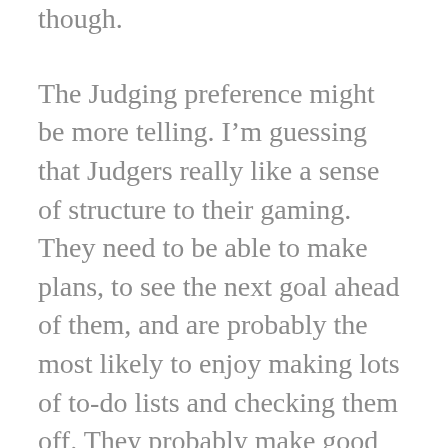though.
The Judging preference might be more telling. I'm guessing that Judgers really like a sense of structure to their gaming. They need to be able to make plans, to see the next goal ahead of them, and are probably the most likely to enjoy making lots of to-do lists and checking them off. They probably make good hardcore raider types. Scheduled activities, regular repetition, sense of progression, and what-have-you. Discipline is their watchword. I wonder if these are the folks that tend to seek that refined sense of accomplishment over just